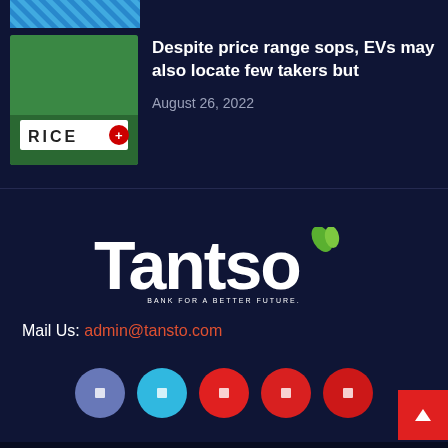[Figure (photo): Partial image visible at top: striped pattern in blue tones]
[Figure (photo): Image of RICE+ letter tiles on green background]
Despite price range sops, EVs may also locate few takers but
August 26, 2022
[Figure (logo): Tantso logo — white bold text with green leaf accent above the letter o, tagline: BANK FOR A BETTER FUTURE.]
Mail Us: admin@tansto.com
[Figure (other): Social media icon buttons: Facebook (muted blue), Twitter (light blue), YouTube (red), Pinterest (red), RSS (red)]